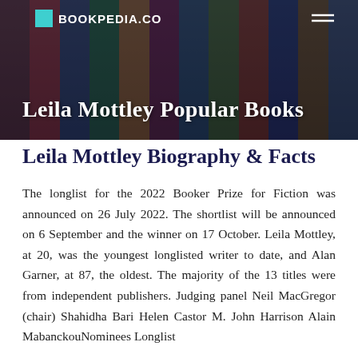BOOKPEDIA.CO
Leila Mottley Popular Books
Leila Mottley Biography & Facts
The longlist for the 2022 Booker Prize for Fiction was announced on 26 July 2022. The shortlist will be announced on 6 September and the winner on 17 October. Leila Mottley, at 20, was the youngest longlisted writer to date, and Alan Garner, at 87, the oldest. The majority of the 13 titles were from independent publishers. Judging panel Neil MacGregor (chair) Shahidha Bari Helen Castor M. John Harrison Alain MabanckouNominees Longlist